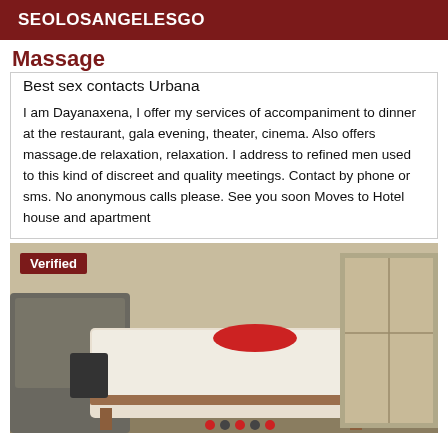SEOLOSANGELESGO
Massage
Best sex contacts Urbana
I am Dayanaxena, I offer my services of accompaniment to dinner at the restaurant, gala evening, theater, cinema. Also offers massage.de relaxation, relaxation. I address to refined men used to this kind of discreet and quality meetings. Contact by phone or sms. No anonymous calls please. See you soon Moves to Hotel house and apartment
[Figure (photo): Photo of a massage table with white sheets and a red bolster pillow, in a room with furniture, with a 'Verified' badge overlay in the top left corner.]